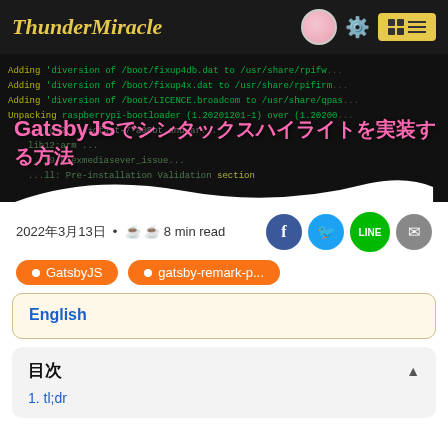ThunderMiracle
[Figure (screenshot): Hero banner with terminal/code background showing Linux dpkg diversion commands in green monospace text]
GatsbyJS でシンタックスハイライトを実装する方法
2022年3月13日 • ☕☕ 8 min read
[Figure (infographic): Social share icons: Facebook, Twitter, LINE, Email]
GatsbyJS
gatsby-remark-p...
English
目次
1. tl;dr